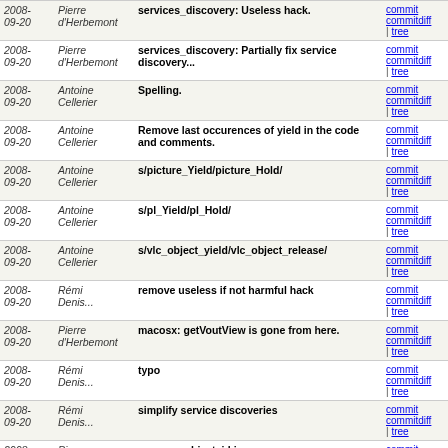| Date | Author | Message | Links |
| --- | --- | --- | --- |
| 2008-09-20 | Pierre d'Herbemont | services_discovery: Useless hack. | commit | commitdiff | tree |
| 2008-09-20 | Pierre d'Herbemont | services_discovery: Partially fix service discovery... | commit | commitdiff | tree |
| 2008-09-20 | Antoine Cellerier | Spelling. | commit | commitdiff | tree |
| 2008-09-20 | Antoine Cellerier | Remove last occurences of yield in the code and comments. | commit | commitdiff | tree |
| 2008-09-20 | Antoine Cellerier | s/picture_Yield/picture_Hold/ | commit | commitdiff | tree |
| 2008-09-20 | Antoine Cellerier | s/pl_Yield/pl_Hold/ | commit | commitdiff | tree |
| 2008-09-20 | Antoine Cellerier | s/vlc_object_yield/vlc_object_release/ | commit | commitdiff | tree |
| 2008-09-20 | Rémi Denis... | remove useless if not harmful hack | commit | commitdiff | tree |
| 2008-09-20 | Pierre d'Herbemont | macosx: getVoutView is gone from here. | commit | commitdiff | tree |
| 2008-09-20 | Rémi Denis... | typo | commit | commitdiff | tree |
| 2008-09-20 | Rémi Denis... | simplify service discoveries | commit | commitdiff | tree |
| 2008-09-20 | Pierre d'Herbemont | ncurses: object_id is gone. | commit | commitdiff | tree |
| 2008-09-20 | Rémi Denis... | One child is one reference | commit | commitdiff | tree |